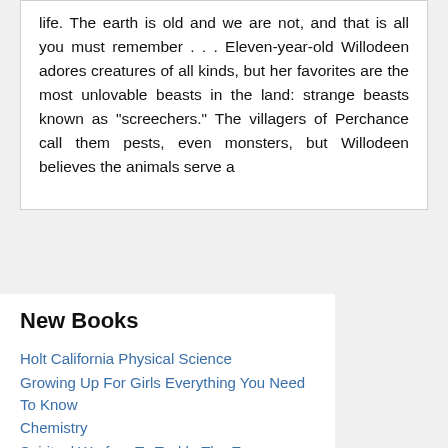life. The earth is old and we are not, and that is all you must remember . . . Eleven-year-old Willodeen adores creatures of all kinds, but her favorites are the most unlovable beasts in the land: strange beasts known as "screechers." The villagers of Perchance call them pests, even monsters, but Willodeen believes the animals serve a
New Books
Holt California Physical Science
Growing Up For Girls Everything You Need To Know
Chemistry
Spiritual Warfare To Tackle The Enemy
The Return Of The Prodigal Son